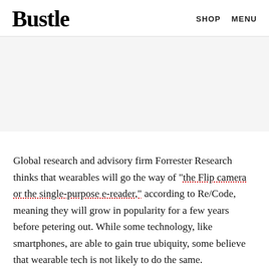Bustle  SHOP  MENU
[Figure (other): Gray advertisement/placeholder area]
Global research and advisory firm Forrester Research thinks that wearables will go the way of "the Flip camera or the single-purpose e-reader," according to Re/Code, meaning they will grow in popularity for a few years before petering out. While some technology, like smartphones, are able to gain true ubiquity, some believe that wearable tech is not likely to do the same.